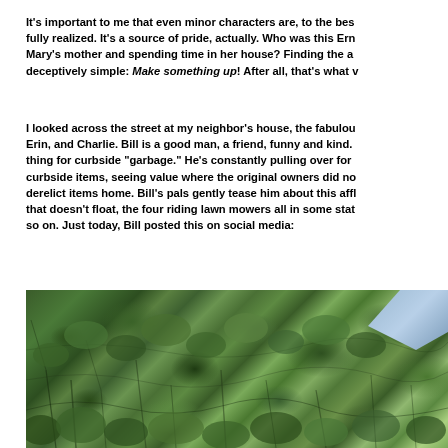It's important to me that even minor characters are, to the best of my ability, fully realized. It's a source of pride, actually. Who was this Ern... (continued) Mary's mother and spending time in her house? Finding the answer is deceptively simple: Make something up! After all, that's what w...
I looked across the street at my neighbor's house, the fabulous... Erin, and Charlie. Bill is a good man, a friend, funny and kind. thing for curbside “garbage.” He’s constantly pulling over for curbside items, seeing value where the original owners did no... derelict items home. Bill’s pals gently tease him about this affl... that doesn’t float, the four riding lawn mowers all in some stat... so on. Just today, Bill posted this on social media:
[Figure (photo): A dense overgrowth of green shrubs, bushes, and tangled vegetation photographed outdoors. The foliage is thick and layered with various shades of green. A glimpse of blue sky is visible in the upper right corner.]